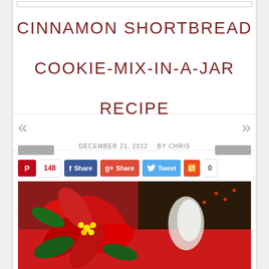CINNAMON SHORTBREAD COOKIE-MIX-IN-A-JAR RECIPE
DECEMBER 21, 2012   BY CHRIS
[Figure (photo): Holiday photo showing red poinsettia flowers and decorative berries on a festive background]
148  Share  Share  Tweet  0